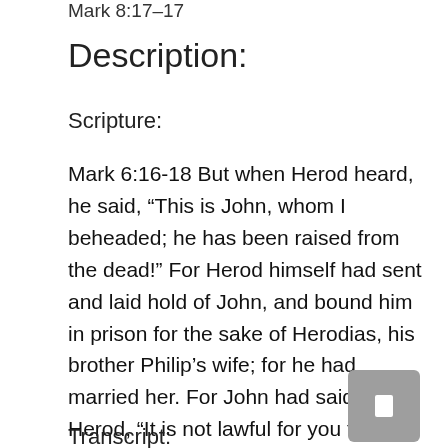Mark 8:17–17
Description:
Scripture:
Mark 6:16-18 But when Herod heard, he said, “This is John, whom I beheaded; he has been raised from the dead!” For Herod himself had sent and laid hold of John, and bound him in prison for the sake of Herodias, his brother Philip’s wife; for he had married her. For John had said to Herod, “It is not lawful for you to have your brother’s wife.”
Transcript: